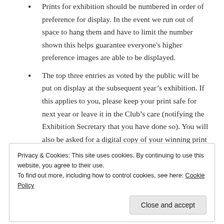Prints for exhibition should be numbered in order of preference for display. In the event we run out of space to hang them and have to limit the number shown this helps guarantee everyone's higher preference images are able to be displayed.
The top three entries as voted by the public will be put on display at the subsequent year's exhibition. If this applies to you, please keep your print safe for next year or leave it in the Club's care (notifying the Exhibition Secretary that you have done so). You will also be asked for a digital copy of your winning print for use in the club's publicity.
Share this:
Privacy & Cookies: This site uses cookies. By continuing to use this website, you agree to their use. To find out more, including how to control cookies, see here: Cookie Policy